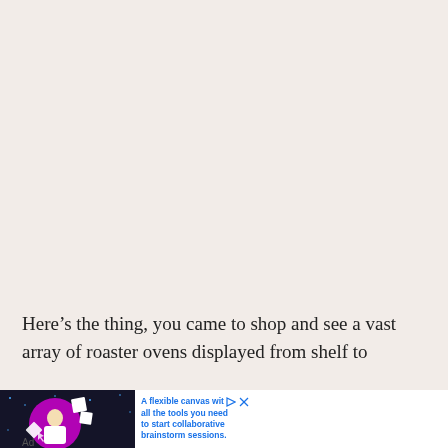Here’s the thing, you came to shop and see a vast array of roaster ovens displayed from shelf to
[Figure (photo): Advertisement banner showing a woman working on a laptop with pink circular graphic and floating paper/note icons on dark background. Ad text reads: 'A flexible canvas wit [play][close] all the tools you need to start collaborative brainstorm sessions.' Labeled 'Ad' at bottom left.]